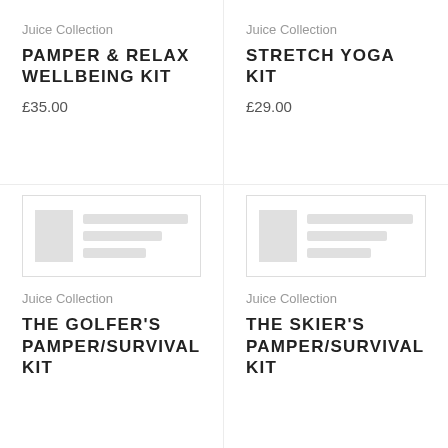Juice Collection
PAMPER & RELAX WELLBEING KIT
£35.00
Juice Collection
STRETCH YOGA KIT
£29.00
[Figure (other): Placeholder product image with grey blocks simulating content]
[Figure (other): Placeholder product image with grey blocks simulating content]
Juice Collection
THE GOLFER'S PAMPER/SURVIVAL KIT
Juice Collection
THE SKIER'S PAMPER/SURVIVAL KIT